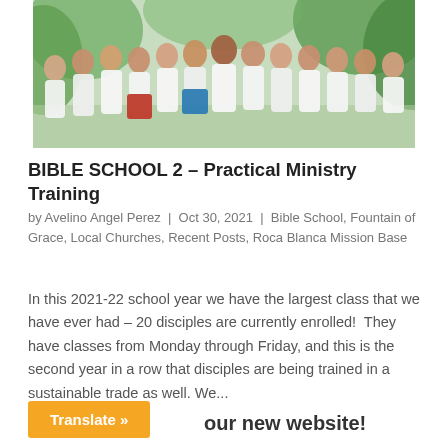[Figure (photo): Group photo of approximately 15-16 young women wearing matching white t-shirts, standing together outdoors in front of green tropical foliage.]
BIBLE SCHOOL 2 – Practical Ministry Training
by Avelino Angel Perez | Oct 30, 2021 | Bible School, Fountain of Grace, Local Churches, Recent Posts, Roca Blanca Mission Base
In this 2021-22 school year we have the largest class that we have ever had – 20 disciples are currently enrolled!  They have classes from Monday through Friday, and this is the second year in a row that disciples are being trained in a sustainable trade as well. We...
Translate »
our new website!